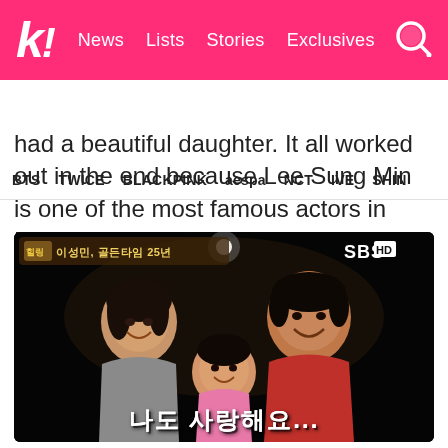k! News Lists Stories Exclusives [search]
BTS TWICE BLACKPINK aespa NCT IVE SHIN
had a beautiful daughter. It all worked out in the end because Lee Sung Min is one of the most famous actors in Korea!
[Figure (photo): Family photo screenshot from SBS HD TV show. Korean family (man, woman, and young daughter) posing together outdoors at night, smiling. TV show overlay text in Korean: 힐링캠프 이성민, 골든타임 25년 (top left), SBS HD logo (top right), Korean subtitle at bottom: 나도 사랑해요...]